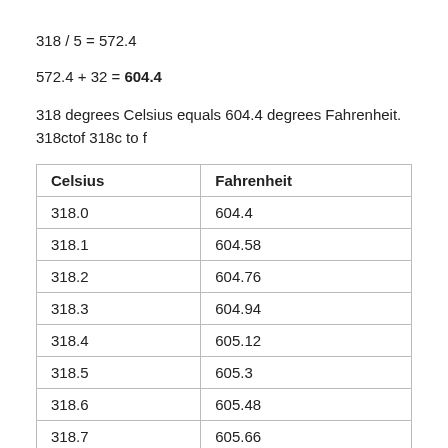318 degrees Celsius equals 604.4 degrees Fahrenheit.
318ctof 318c to f
| Celsius | Fahrenheit |
| --- | --- |
| 318.0 | 604.4 |
| 318.1 | 604.58 |
| 318.2 | 604.76 |
| 318.3 | 604.94 |
| 318.4 | 605.12 |
| 318.5 | 605.3 |
| 318.6 | 605.48 |
| 318.7 | 605.66 |